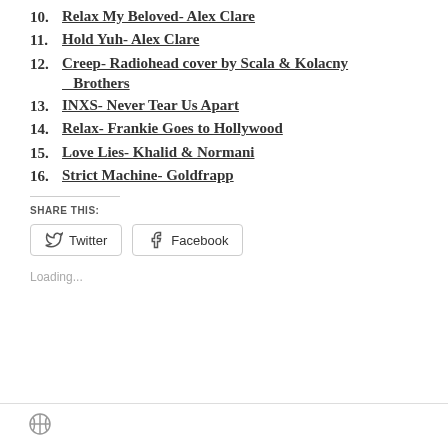10. Relax My Beloved- Alex Clare
11. Hold Yuh- Alex Clare
12. Creep- Radiohead cover by Scala & Kolacny Brothers
13. INXS- Never Tear Us Apart
14. Relax- Frankie Goes to Hollywood
15. Love Lies- Khalid & Normani
16. Strict Machine- Goldfrapp
SHARE THIS:
Twitter  Facebook
Loading...
WordPress logo